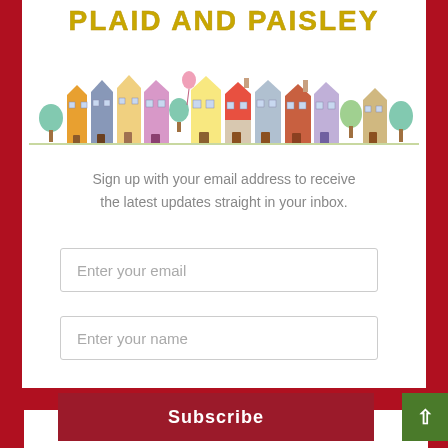PLAID AND PAISLEY
[Figure (illustration): Watercolor illustration of a row of colorful townhouses/buildings with trees]
Sign up with your email address to receive the latest updates straight in your inbox.
Enter your email
Enter your name
Subscribe
PAPER PUMPKIN MONTHLY KITS